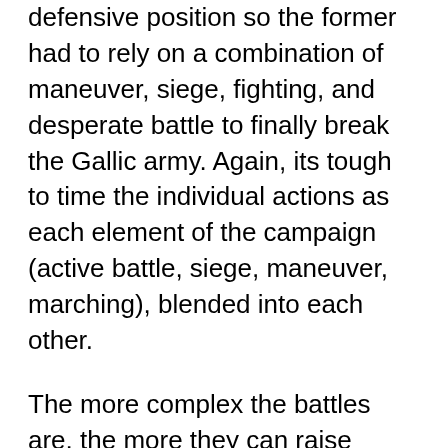defensive position so the former had to rely on a combination of maneuver, siege, fighting, and desperate battle to finally break the Gallic army. Again, its tough to time the individual actions as each element of the campaign (active battle, siege, maneuver, marching), blended into each other.
The more complex the battles are, the more they can raise armies and sustain them in the field, which means they can fight multiple campaigns and many battles. There were some tribes such as the Cree who for much of their history were hunter gatherers that fought very few of what we would call battles, most were skirmishes with a few soldiers. But others like the Aztecs raised large